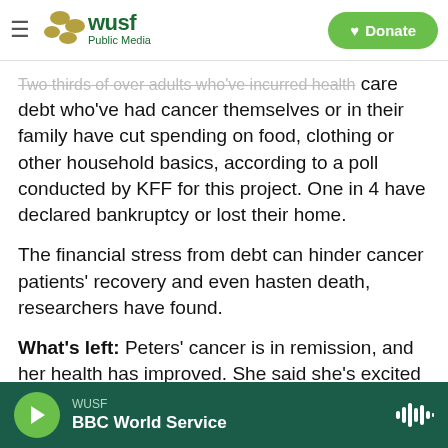WUSF Public Media — Donate
Two thirds of over adults who've incurred health care debt who've had cancer themselves or in their family have cut spending on food, clothing or other household basics, according to a poll conducted by KFF for this project. One in 4 have declared bankruptcy or lost their home.
The financial stress from debt can hinder cancer patients' recovery and even hasten death, researchers have found.
What's left: Peters' cancer is in remission, and her health has improved. She said she's excited about adopting two more of her foster children.
WUSF — BBC World Service